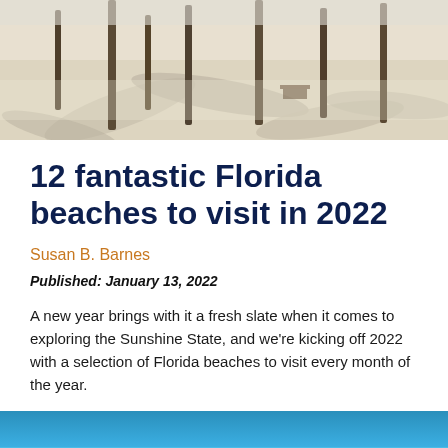[Figure (photo): Aerial or overhead view of palm trees on a white sandy beach, with shadows cast on the sand, some picnic benches visible.]
12 fantastic Florida beaches to visit in 2022
Susan B. Barnes
Published: January 13, 2022
A new year brings with it a fresh slate when it comes to exploring the Sunshine State, and we're kicking off 2022 with a selection of Florida beaches to visit every month of the year.
[Figure (photo): Partial view of a beach scene with blue water and sky, bottom of page cropped.]